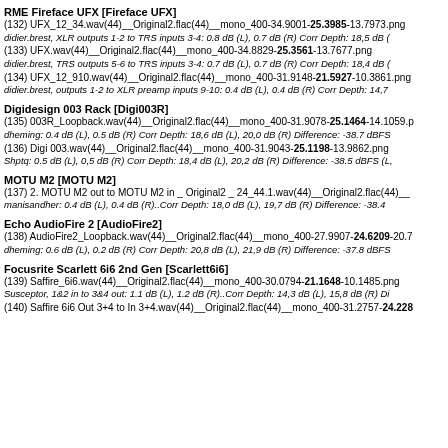RME Fireface UFX [Fireface UFX]
(132) UFX_12_34.wav(44)__Original2.flac(44)__mono_400-34.9001-25.3985-13.7973.png
didier.brest, XLR outputs 1-2 to TRS inputs 3-4: 0.8 dB (L), 0.7 dB (R) Corr Depth: 18,5 dB (
(133) UFX.wav(44)__Original2.flac(44)__mono_400-34.8829-25.3561-13.7677.png
didier.brest, TRS outputs 5-6 to TRS inputs 3-4: 0.7 dB (L), 0.7 dB (R) Corr Depth: 18,4 dB (
(134) UFX_12_910.wav(44)__Original2.flac(44)__mono_400-31.9148-21.5927-10.3861.png
didier.brest, outputs 1-2 to XLR preamp inputs 9-10: 0.4 dB (L), 0.4 dB (R) Corr Depth: 14,7
Digidesign 003 Rack [Digi003R]
(135) 003R_Loopback.wav(44)__Original2.flac(44)__mono_400-31.9078-25.1464-14.1059.p
dheming: 0.4 dB (L), 0.5 dB (R) Corr Depth: 18,6 dB (L), 20,0 dB (R) Difference: -38.7 dBFS
(136) Digi 003.wav(44)__Original2.flac(44)__mono_400-31.9043-25.1198-13.9862.png
Shptq: 0.5 dB (L), 0,5 dB (R) Corr Depth: 18,4 dB (L), 20,2 dB (R) Difference: -38.5 dBFS (L,
MOTU M2 [MOTU M2]
(137) 2. MOTU M2 out to MOTU M2 in _ Original2 _ 24_44.1.wav(44)__Original2.flac(44)__
manisandher: 0.4 dB (L), 0.4 dB (R)..Corr Depth: 18,0 dB (L), 19,7 dB (R) Difference: -38.4
Echo AudioFire 2 [AudioFire2]
(138) AudioFire2_Loopback.wav(44)__Original2.flac(44)__mono_400-27.9907-24.6209-20.7
dheming: 0.6 dB (L), 0.2 dB (R) Corr Depth: 20,8 dB (L), 21,9 dB (R) Difference: -37.8 dBFS
Focusrite Scarlett 6i6 2nd Gen [Scarlett6i6]
(139) Saffire_6i6.wav(44)__Original2.flac(44)__mono_400-30.0794-21.1648-10.1485.png
Susceptor, 1&2 in to 3&4 out: 1.1 dB (L), 1.2 dB (R)..Corr Depth: 14,3 dB (L), 15,8 dB (R) Di
(140) Saffire 6i6 Out 3+4 to In 3+4.wav(44)__Original2.flac(44)__mono_400-31.2757-24.228